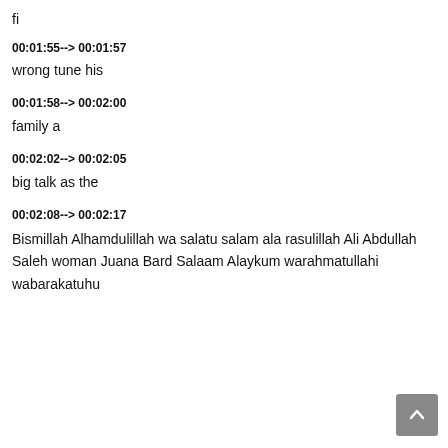fi
00:01:55--> 00:01:57
wrong tune his
00:01:58--> 00:02:00
family a
00:02:02--> 00:02:05
big talk as the
00:02:08--> 00:02:17
Bismillah Alhamdulillah wa salatu salam ala rasulillah Ali Abdullah Saleh woman Juana Bard Salaam Alaykum warahmatullahi wabarakatuhu